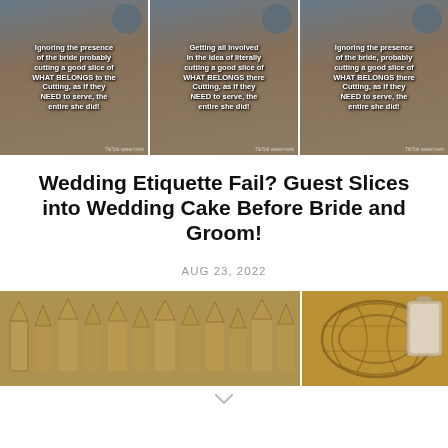[Figure (photo): Three side-by-side video screenshots showing a woman in a red polka-dot top with overlaid text about a wedding guest slicing a wedding cake]
Wedding Etiquette Fail? Guest Slices into Wedding Cake Before Bride and Groom!
AUG 23, 2022
[Figure (photo): Two side-by-side photos: left shows wicker/woven craft items on display, right shows an engraved wooden plate and a glass jar]